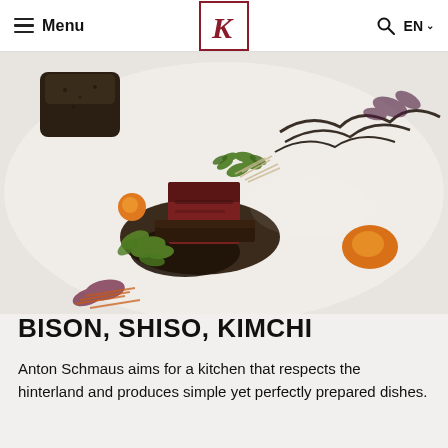Menu | K | EN
[Figure (photo): Elegant fine dining dish featuring a seared bison meat cube with dark sauce pool on a white plate, garnished with microgreens, shiso leaves, orange sauce dots, and pickled vegetables]
BISON, SHISO, KIMCHI
Anton Schmaus aims for a kitchen that respects the hinterland and produces simple yet perfectly prepared dishes.